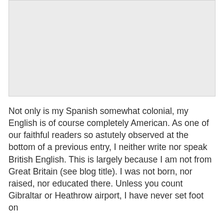[Figure (other): A light gray rectangular image placeholder occupying the top portion of the page.]
Not only is my Spanish somewhat colonial, my English is of course completely American. As one of our faithful readers so astutely observed at the bottom of a previous entry, I neither write nor speak British English. This is largely because I am not from Great Britain (see blog title). I was not born, nor raised, nor educated there. Unless you count Gibraltar or Heathrow airport, I have never set foot on